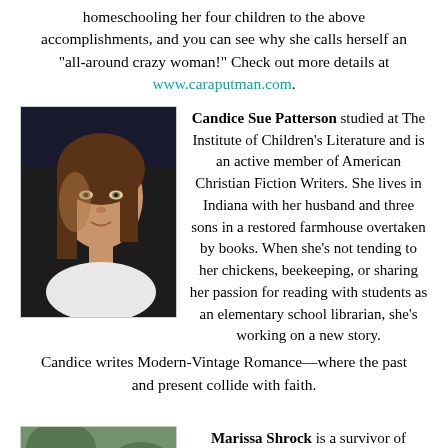homeschooling her four children to the above accomplishments, and you can see why she calls herself an "all-around crazy woman!" Check out more details at www.caraputman.com.
[Figure (photo): Portrait photo of Candice Sue Patterson, a young woman with brown hair, looking upward, against a dark background]
Candice Sue Patterson studied at The Institute of Children's Literature and is an active member of American Christian Fiction Writers. She lives in Indiana with her husband and three sons in a restored farmhouse overtaken by books. When she's not tending to her chickens, beekeeping, or sharing her passion for reading with students as an elementary school librarian, she's working on a new story.
Candice writes Modern-Vintage Romance—where the past and present collide with faith.
[Figure (photo): Partial photo of Marissa Shrock, showing outdoor/nature background]
Marissa Shrock is a survivor of